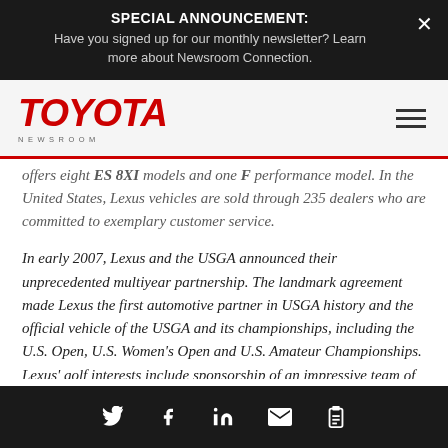SPECIAL ANNOUNCEMENT: Have you signed up for our monthly newsletter? Learn more about Newsroom Connection.
[Figure (logo): Toyota Newsroom logo in red italic bold text with NEWSROOM subtitle in gray letterspaced text]
offers eight ES 8XI models and one F performance model. In the United States, Lexus vehicles are sold through 235 dealers who are committed to exemplary customer service.
In early 2007, Lexus and the USGA announced their unprecedented multiyear partnership. The landmark agreement made Lexus the first automotive partner in USGA history and the official vehicle of the USGA and its championships, including the U.S. Open, U.S. Women's Open and U.S. Amateur Championships. Lexus' golf interests include sponsorship of an impressive team of professional players and
Social share icons: Twitter, Facebook, LinkedIn, Email, Link